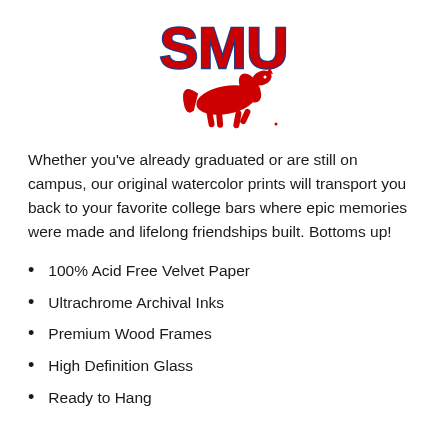[Figure (logo): SMU Mustangs logo — bold red and blue 'SMU' text above a red running mustang horse illustration]
Whether you've already graduated or are still on campus, our original watercolor prints will transport you back to your favorite college bars where epic memories were made and lifelong friendships built. Bottoms up!
100% Acid Free Velvet Paper
Ultrachrome Archival Inks
Premium Wood Frames
High Definition Glass
Ready to Hang